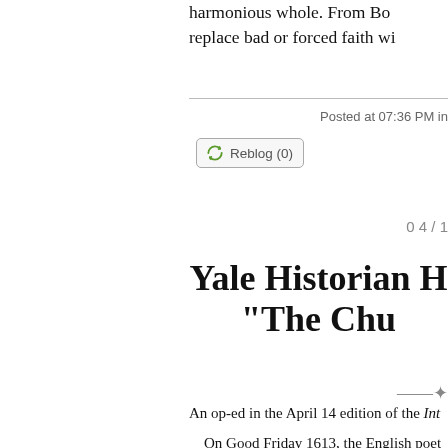harmonious whole. From Bo replace bad or forced faith wi
Posted at 07:36 PM in
Reblog (0)
0 4 / 1
Yale Historian H "The Chu
An op-ed in the April 14 edition of the Int
On Good Friday 1613, the English poet London, but probably still a Catholic) was official mission. As he rode toward the se was riding with his back to Jerusalem, far and death of Christ. In remorse, he penned difficult poems: "Good Friday, 1613. Ridi